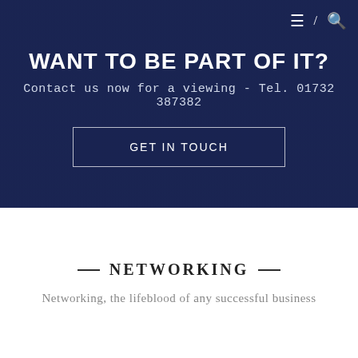≡ / 🔍
WANT TO BE PART OF IT?
Contact us now for a viewing - Tel. 01732 387382
GET IN TOUCH
— NETWORKING —
Networking, the lifeblood of any successful business